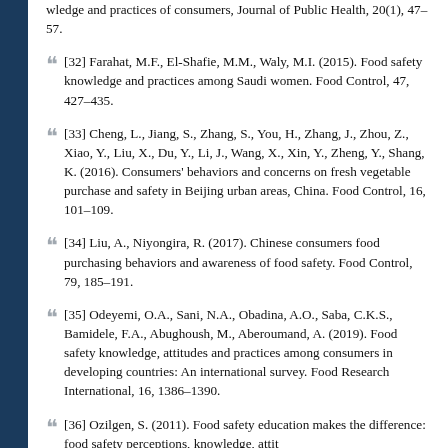wledge and practices of consumers, Journal of Public Health, 20(1), 47–57.
[32] Farahat, M.F., El-Shafie, M.M., Waly, M.I. (2015). Food safety knowledge and practices among Saudi women. Food Control, 47, 427–435.
[33] Cheng, L., Jiang, S., Zhang, S., You, H., Zhang, J., Zhou, Z., Xiao, Y., Liu, X., Du, Y., Li, J., Wang, X., Xin, Y., Zheng, Y., Shang, K. (2016). Consumers' behaviors and concerns on fresh vegetable purchase and safety in Beijing urban areas, China. Food Control, 16, 101–109.
[34] Liu, A., Niyongira, R. (2017). Chinese consumers food purchasing behaviors and awareness of food safety. Food Control, 79, 185–191.
[35] Odeyemi, O.A., Sani, N.A., Obadina, A.O., Saba, C.K.S., Bamidele, F.A., Abughoush, M., Aberoumand, A. (2019). Food safety knowledge, attitudes and practices among consumers in developing countries: An international survey. Food Research International, 16, 1386–1390.
[36] Ozilgen, S. (2011). Food safety education makes the difference: food safety perceptions, knowledge, attit